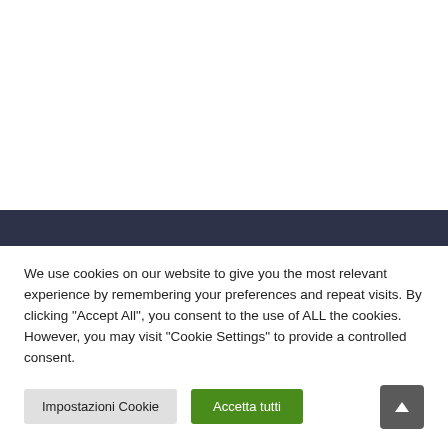We use cookies on our website to give you the most relevant experience by remembering your preferences and repeat visits. By clicking "Accept All", you consent to the use of ALL the cookies. However, you may visit "Cookie Settings" to provide a controlled consent.
Impostazioni Cookie | Accetta tutti